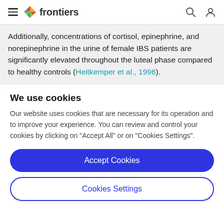frontiers (navigation header with hamburger menu, logo, search, and user icons)
Additionally, concentrations of cortisol, epinephrine, and norepinephrine in the urine of female IBS patients are significantly elevated throughout the luteal phase compared to healthy controls (Heitkemper et al., 1996).
We use cookies
Our website uses cookies that are necessary for its operation and to improve your experience. You can review and control your cookies by clicking on "Accept All" or on "Cookies Settings".
Accept Cookies
Cookies Settings